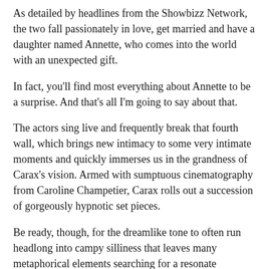As detailed by headlines from the Showbizz Network, the two fall passionately in love, get married and have a daughter named Annette, who comes into the world with an unexpected gift.
In fact, you'll find most everything about Annette to be a surprise. And that's all I'm going to say about that.
The actors sing live and frequently break that fourth wall, which brings new intimacy to some very intimate moments and quickly immerses us in the grandness of Carax's vision. Armed with sumptuous cinematography from Caroline Champetier, Carax rolls out a succession of gorgeously hypnotic set pieces.
Be ready, though, for the dreamlike tone to often run headlong into campy silliness that leaves many metaphorical elements searching for a resonate metaphor.